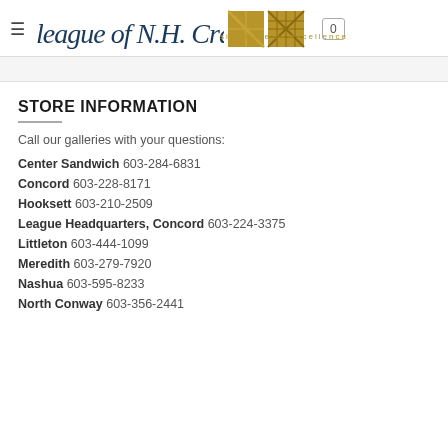League of N.H. Craftsmen — signature of excellence
STORE INFORMATION
Call our galleries with your questions:
Center Sandwich 603-284-6831
Concord 603-228-8171
Hooksett 603-210-2509
League Headquarters, Concord 603-224-3375
Littleton 603-444-1099
Meredith 603-279-7920
Nashua 603-595-8233
North Conway 603-356-2441